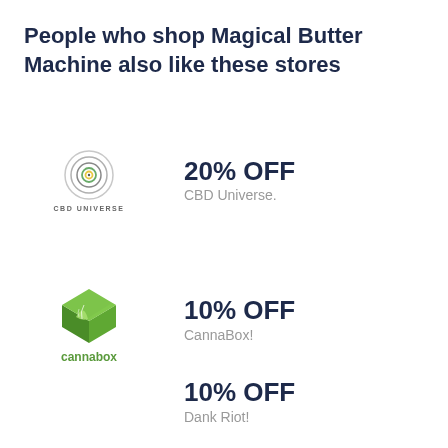People who shop Magical Butter Machine also like these stores
[Figure (logo): CBD Universe logo — concentric circles icon with 'CBD UNIVERSE' text below]
20% OFF
CBD Universe.
[Figure (logo): Cannabox logo — green leaf cube icon with 'cannabox' text below]
10% OFF
CannaBox!
10% OFF
Dank Riot!